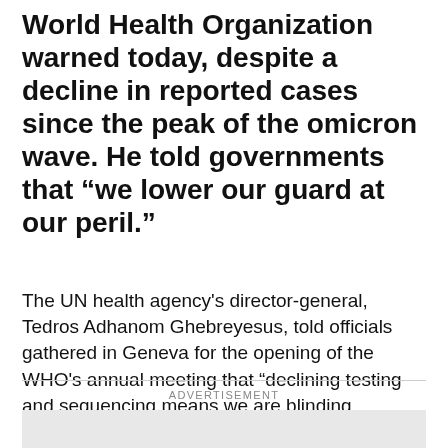World Health Organization warned today, despite a decline in reported cases since the peak of the omicron wave. He told governments that “we lower our guard at our peril.”
The UN health agency's director-general, Tedros Adhanom Ghebreyesus, told officials gathered in Geneva for the opening of the WHO's annual meeting that “declining testing and sequencing means we are blinding ourselves to the evolution of the virus.” He also noted that almost 1 billion people in lower-income countries still haven't been vaccinated.
ADVERTISEMENT